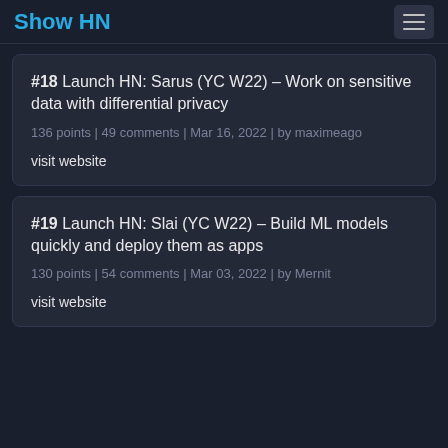Show HN
#18 Launch HN: Sarus (YC W22) – Work on sensitive data with differential privacy
136 points | 49 comments | Mar 16, 2022 | by maximeago
visit website
#19 Launch HN: Slai (YC W22) – Build ML models quickly and deploy them as apps
130 points | 54 comments | Mar 03, 2022 | by Mernit
visit website